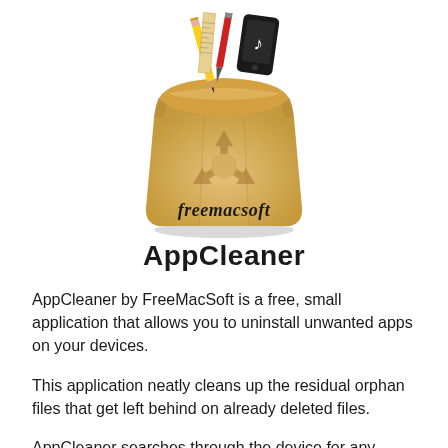[Figure (illustration): AppCleaner app icon: a brown paper bag with tools (pencil, ruler, red brush, black smartphone with music note) sticking out, a recycling symbol on the bag, and 'freemacsoft' written in cursive script below the bag.]
AppCleaner
AppCleaner by FreeMacSoft is a free, small application that allows you to uninstall unwanted apps on your devices.
This application neatly cleans up the residual orphan files that get left behind on already deleted files.
AppCleaner searches through the device for any